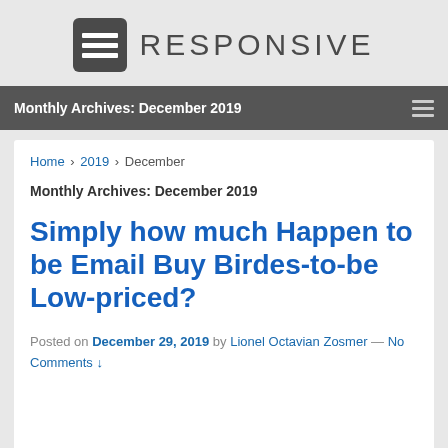[Figure (logo): Responsive theme logo: dark rounded square icon with three horizontal white lines, followed by 'RESPONSIVE' text in large uppercase letters]
Monthly Archives: December 2019
Home › 2019 › December
Monthly Archives: December 2019
Simply how much Happen to be Email Buy Birdes-to-be Low-priced?
Posted on December 29, 2019 by Lionel Octavian Zosmer — No Comments ↓